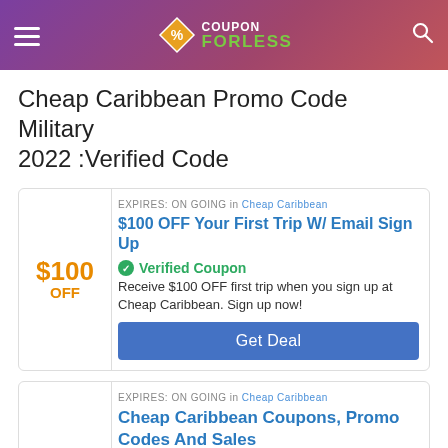COUPON FORLESS
Cheap Caribbean Promo Code Military 2022 :Verified Code
EXPIRES: ON GOING in Cheap Caribbean
$100 OFF Your First Trip W/ Email Sign Up
Verified Coupon
Receive $100 OFF first trip when you sign up at Cheap Caribbean. Sign up now!
Get Deal
EXPIRES: ON GOING in Cheap Caribbean
Cheap Caribbean Coupons, Promo Codes And Sales